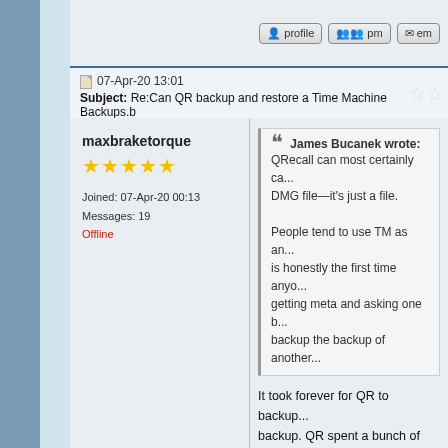profile  pm  em
07-Apr-20 13:01
Subject: Re:Can QR backup and restore a Time Machine Backups.b
maxbraketorque
★★★★★
Joined: 07-Apr-20 00:13
Messages: 19
Offline
James Bucanek wrote:
QRecall can most certainly ca... DMG file—it's just a file.
People tend to use TM as an... is honestly the first time anyo... getting meta and asking one b... backup the backup of another
It took forever for QR to backup... backup. QR spent a bunch of ti... 500,000+ files. If I dump the ba... then QR only has to deal with a... think that will go much faster, a... change.

On a tangential note, I'm wond... for QR to repair damage done